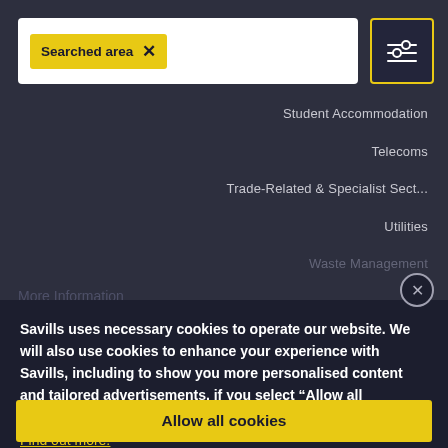[Figure (screenshot): Search bar with 'Searched area' yellow tag and X button, and filter icon button with yellow border on the right]
Student Accommodation
Telecoms
Trade-Related & Specialist Sect...
Utilities
Waste Management
More Information
Savills uses necessary cookies to operate our website. We will also use cookies to enhance your experience with Savills, including to show you more personalised content and tailored advertisements, if you select “Allow all cookies”. Find out more.
Accessibility
eedback
TOs Explained
Allow all cookies
Provision of Services